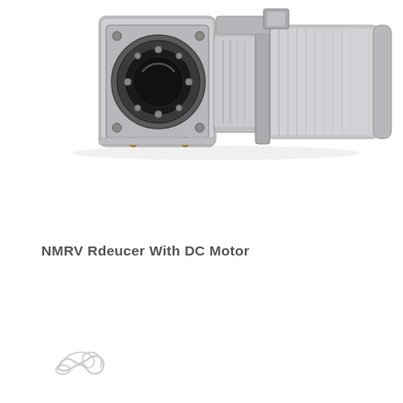[Figure (photo): Photograph of an NMRV worm gear reducer with DC motor attached. The gearbox is silver/grey aluminium with a circular face flange and central bore visible on the left side. A motor is attached to the right. The unit is mounted on a white background.]
NMRV Rdeucer With DC Motor
[Figure (logo): A small oval/cursive logo or signature mark in light grey outline, resembling a stylized signature.]